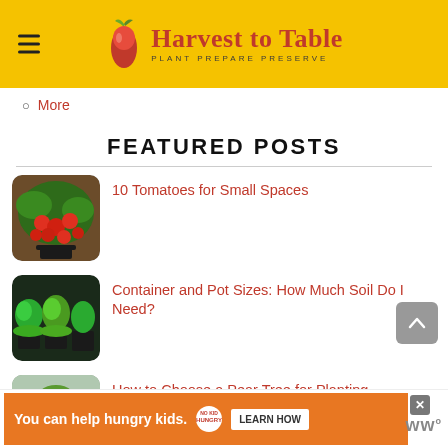Harvest to Table — PLANT PREPARE PRESERVE
More
FEATURED POSTS
[Figure (photo): Cherry tomatoes growing in a container pot outdoors]
10 Tomatoes for Small Spaces
[Figure (photo): Various green leafy vegetables growing in black pots]
Container and Pot Sizes: How Much Soil Do I Need?
[Figure (photo): Pear tree with fruit in a garden setting]
How to Choose a Pear Tree for Planting
You can help hungry kids. NO KID HUNGRY LEARN HOW